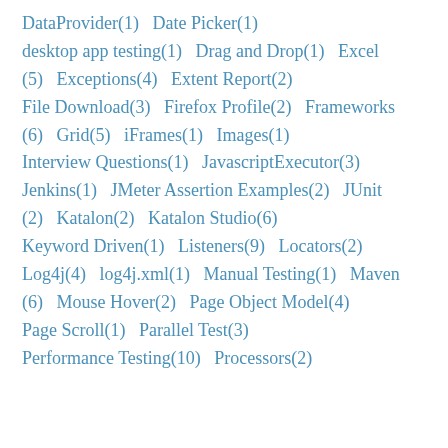DataProvider(1)  Date Picker(1)  desktop app testing(1)  Drag and Drop(1)  Excel(5)  Exceptions(4)  Extent Report(2)  File Download(3)  Firefox Profile(2)  Frameworks(6)  Grid(5)  iFrames(1)  Images(1)  Interview Questions(1)  JavascriptExecutor(3)  Jenkins(1)  JMeter Assertion Examples(2)  JUnit(2)  Katalon(2)  Katalon Studio(6)  Keyword Driven(1)  Listeners(9)  Locators(2)  Log4j(4)  log4j.xml(1)  Manual Testing(1)  Maven(6)  Mouse Hover(2)  Page Object Model(4)  Page Scroll(1)  Parallel Test(3)  Performance Testing(10)  Processors(2)